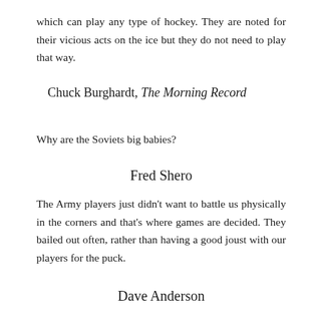which can play any type of hockey. They are noted for their vicious acts on the ice but they do not need to play that way.
Chuck Burghardt, The Morning Record
Why are the Soviets big babies?
Fred Shero
The Army players just didn't want to battle us physically in the corners and that's where games are decided. They bailed out often, rather than having a good joust with our players for the puck.
Dave Anderson